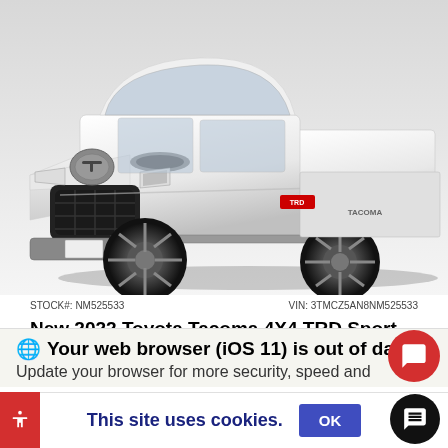[Figure (photo): White 2022 Toyota Tacoma TRD Sport Double Cab pickup truck, front three-quarter view on white background]
STOCK#: NM525533    VIN: 3TMCZ5AN8NM525533
New 2022 Toyota Tacoma 4X4 TRD Sport Double Cab Short bed
TRD Sport Pickup Double Cab 6 Speed Elect Controlled Auto Transmission w/ Inte
MSRP   $41,05...
Your web browser (iOS 11) is out of da...
Update your browser for more security, speed and
This site uses cookies.